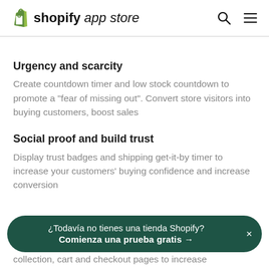shopify app store
Urgency and scarcity
Create countdown timer and low stock countdown to promote a "fear of missing out". Convert store visitors into buying customers, boost sales
Social proof and build trust
Display trust badges and shipping get-it-by timer to increase your customers' buying confidence and increase conversion
¿Todavía no tienes una tienda Shopify? Comienza una prueba gratis →
collection, cart and checkout pages to increase